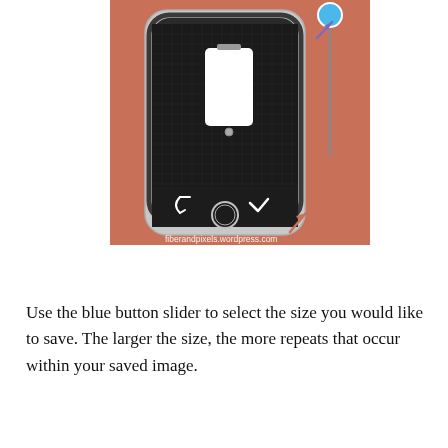[Figure (screenshot): Screenshot of a mobile app on an iPhone showing a grid canvas with a white phone device centered on a dark background. A blue circular slider handle is visible in the upper-right area with an orange arrow pointing to it. A vertical slider track runs down the right side. The bottom shows undo and checkmark icons. Below the phone is another orange arrow. Watermark reads: fiberandpixels.wordpress.com. Background is salmon/terracotta color.]
Use the blue button slider to select the size you would like to save. The larger the size, the more repeats that occur within your saved image.